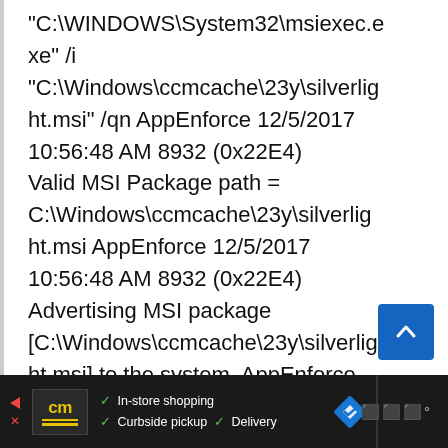"C:\WINDOWS\System32\msiexec.exe" /i "C:\Windows\ccmcache\23y\silverlight.msi" /qn AppEnforce 12/5/2017 10:56:48 AM 8932 (0x22E4) Valid MSI Package path = C:\Windows\ccmcache\23y\silverlight.msi AppEnforce 12/5/2017 10:56:48 AM 8932 (0x22E4) Advertising MSI package [C:\Windows\ccmcache\23y\silverlight.msi] to the system. AppEnforce
[Figure (other): Advertisement bar at bottom: cm logo, checkmarks for In-store shopping, Curbside pickup, Delivery, navigation arrow icon, and WW logo]